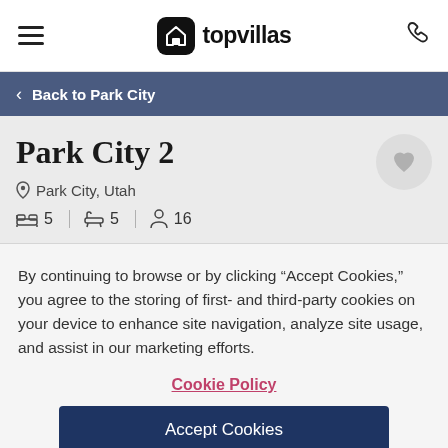topvillas
Back to Park City
Park City 2
Park City, Utah
5  |  5  |  16
By continuing to browse or by clicking “Accept Cookies,” you agree to the storing of first- and third-party cookies on your device to enhance site navigation, analyze site usage, and assist in our marketing efforts.
Cookie Policy
Accept Cookies